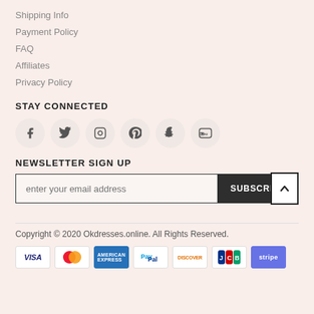Shipping Info
Payment Policy
FAQ
Affiliates
Privacy Policy
STAY CONNECTED
[Figure (infographic): Six circular social media icons: Facebook, Twitter, Instagram, Pinterest, Snapchat, YouTube]
NEWSLETTER SIGN UP
[Figure (infographic): Email subscription form with input field placeholder 'enter your email address', a SUBSCRIBE button, and a back-to-top arrow button]
Copyright © 2020 Okdresses.online. All Rights Reserved.
[Figure (infographic): Payment method icons: VISA, Mastercard, American Express, PayPal, Discover, JCB, Stripe]